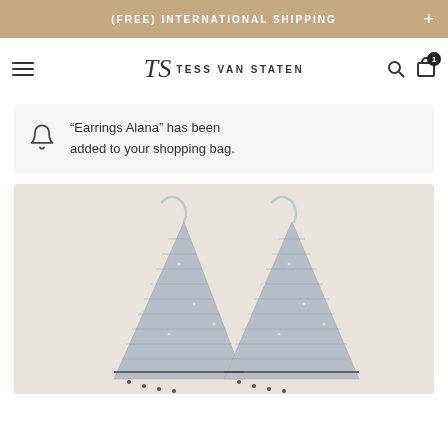(FREE) INTERNATIONAL SHIPPING
[Figure (logo): Tess Van Staten brand logo with stylized TS monogram and brand name]
“Earrings Alana” has been added to your shopping bag.
[Figure (photo): Close-up photo of silver beaded/crystal triangular drop earrings on a light background]